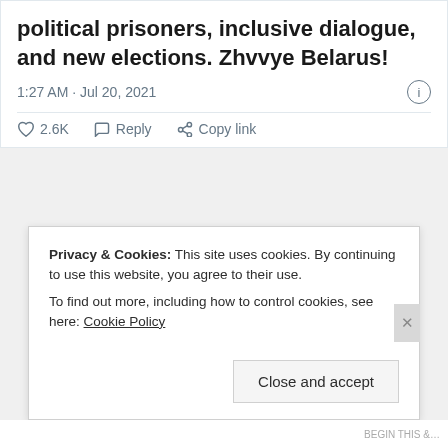political prisoners, inclusive dialogue, and new elections. Zhvvye Belarus!
1:27 AM · Jul 20, 2021
2.6K   Reply   Copy link
Privacy & Cookies: This site uses cookies. By continuing to use this website, you agree to their use.
To find out more, including how to control cookies, see here: Cookie Policy
Close and accept